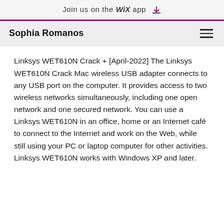Join us on the WiX app
Sophia Romanos
Linksys WET610N Crack + [April-2022] The Linksys WET610N Crack Mac wireless USB adapter connects to any USB port on the computer. It provides access to two wireless networks simultaneously, including one open network and one secured network. You can use a Linksys WET610N in an office, home or an Internet café to connect to the Internet and work on the Web, while still using your PC or laptop computer for other activities. Linksys WET610N works with Windows XP and later.